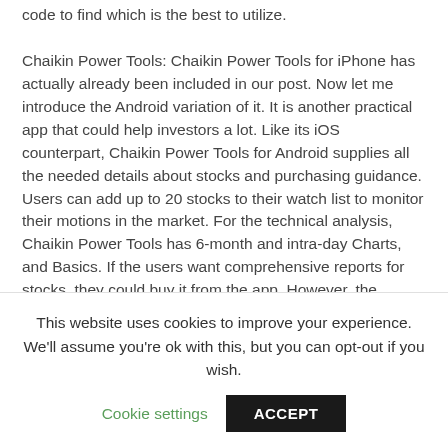code to find which is the best to utilize. Chaikin Power Tools: Chaikin Power Tools for iPhone has actually already been included in our post. Now let me introduce the Android variation of it. It is another practical app that could help investors a lot. Like its iOS counterpart, Chaikin Power Tools for Android supplies all the needed details about stocks and purchasing guidance. Users can add up to 20 stocks to their watch list to monitor their motions in the market. For the technical analysis, Chaikin Power Tools has 6-month and intra-day Charts, and Basics. If the users want comprehensive reports for stocks, they could buy it from the app. However, the developers require to
This website uses cookies to improve your experience. We'll assume you're ok with this, but you can opt-out if you wish.
Cookie settings  ACCEPT